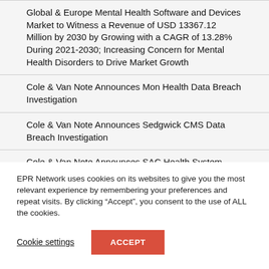Global & Europe Mental Health Software and Devices Market to Witness a Revenue of USD 13367.12 Million by 2030 by Growing with a CAGR of 13.28% During 2021-2030; Increasing Concern for Mental Health Disorders to Drive Market Growth
Cole & Van Note Announces Mon Health Data Breach Investigation
Cole & Van Note Announces Sedgwick CMS Data Breach Investigation
Cole & Van Note Announces SAC Health System Data
EPR Network uses cookies on its websites to give you the most relevant experience by remembering your preferences and repeat visits. By clicking “Accept”, you consent to the use of ALL the cookies.
Cookie settings | ACCEPT